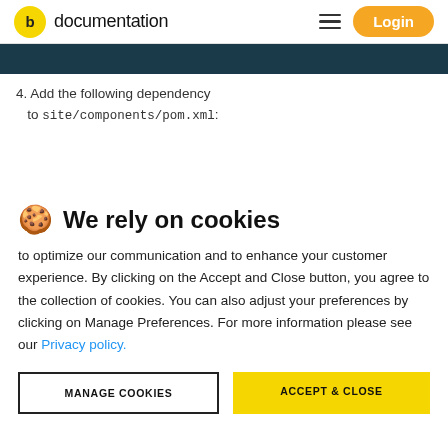documentation  Login
[Figure (screenshot): Dark teal/navy banner strip at top of content area]
4. Add the following dependency to site/components/pom.xml:
🍪 We rely on cookies
to optimize our communication and to enhance your customer experience. By clicking on the Accept and Close button, you agree to the collection of cookies. You can also adjust your preferences by clicking on Manage Preferences. For more information please see our Privacy policy.
MANAGE COOKIES  ACCEPT & CLOSE